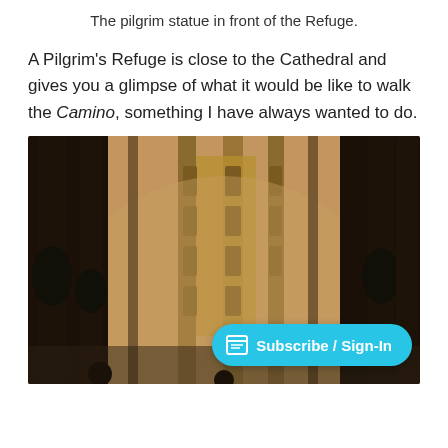The pilgrim statue in front of the Refuge.
A Pilgrim's Refuge is close to the Cathedral and gives you a glimpse of what it would be like to walk the Camino, something I have always wanted to do.
[Figure (photo): View through ornate black wrought-iron gate bars of an elaborately decorated stone cathedral facade with carved columns, gilded detail, and arched interior visible behind.]